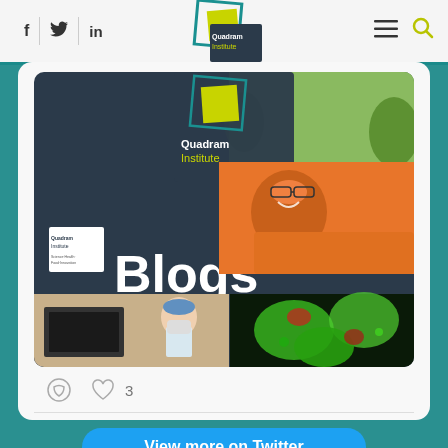f  |  Twitter bird  |  in  [Quadram Institute logo]  ≡  🔍
[Figure (screenshot): Quadram Institute Blogs image collage showing logo, cyclists, lab worker, and microscopy image]
[Figure (infographic): Comment and heart (like) icons with count 3]
View more on Twitter
Learn more about privacy on Twitter